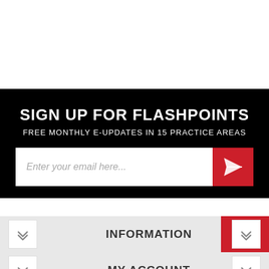SIGN UP FOR FLASHPOINTS
FREE MONTHLY E-UPDATES IN 15 PRACTICE AREAS
[Figure (screenshot): Email signup input field with placeholder text 'Enter your email here...' and a red submit button with paper airplane icon]
[Figure (screenshot): Red scroll-to-top button with double upward chevron arrows]
INFORMATION
MY ACCOUNT